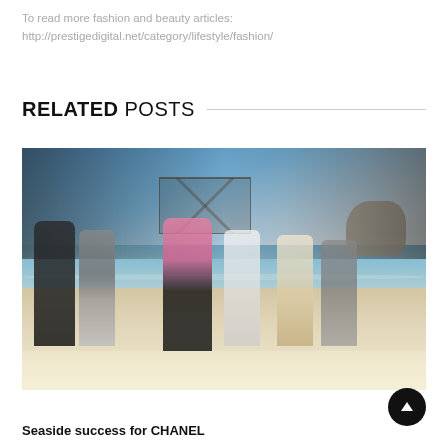To read more fashion and beauty articles:
http://prestigedigital.net/category/lifestyle/fashion/
RELATED POSTS
[Figure (photo): Fashion runway photo showing models walking barefoot on a sandy beach set, with a blue sky and ocean backdrop, audience visible in the background, and a scaffolding structure. Models are wearing various outfits including a pink blazer, tweed jackets, white tops, and neutral-toned ensembles.]
Seaside success for CHANEL